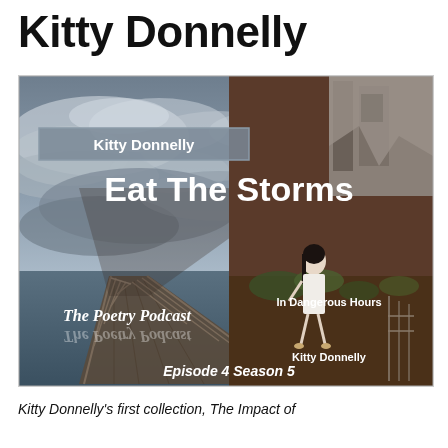Kitty Donnelly
[Figure (illustration): Podcast cover art for 'Eat The Storms' by Kitty Donnelly, The Poetry Podcast, Episode 4 Season 5. Background shows a stormy sky over a pier/boardwalk extending into water. On the right side is a book cover 'In Dangerous Hours' by Kitty Donnelly showing a girl in white dress near a ruined building. Text overlays include 'Kitty Donnelly' in a grey box, 'Eat The Storms' in large white bold text, 'The Poetry Podcast' in white italic text with reflection, and 'Episode 4 Season 5' at the bottom.]
Kitty Donnelly's first collection, The Impact of